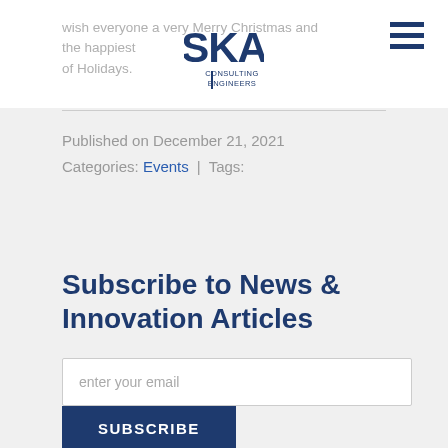wish everyone a very Merry Christmas and the happiest of Holidays.
[Figure (logo): SKA Consulting Engineers logo]
Published on December 21, 2021
Categories: Events | Tags:
Subscribe to News & Innovation Articles
enter your email
SUBSCRIBE